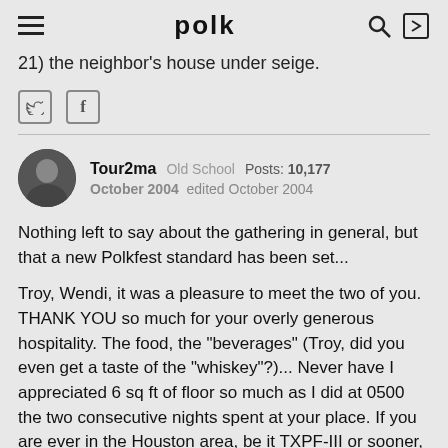polk
21) the neighbor's house under seige.
[Figure (infographic): Twitter and Facebook social share icons]
Tour2ma  Old School  Posts: 10,177
October 2004  edited October 2004
Nothing left to say about the gathering in general, but that a new Polkfest standard has been set...
Troy, Wendi, it was a pleasure to meet the two of you. THANK YOU so much for your overly generous hospitality. The food, the "beverages" (Troy, did you even get a taste of the "whiskey"?)... Never have I appreciated 6 sq ft of floor so much as I did at 0500 the two consecutive nights spent at your place. If you are ever in the Houston area, be it TXPF-III or sooner, I insist that